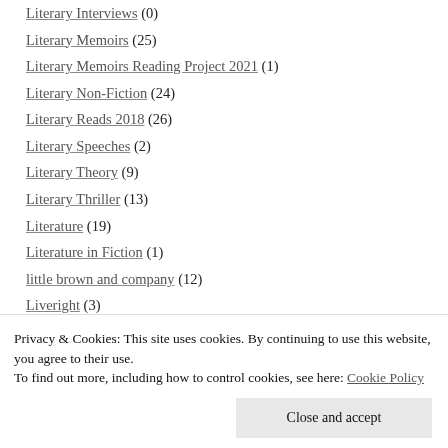Literary Interviews (0)
Literary Memoirs (25)
Literary Memoirs Reading Project 2021 (1)
Literary Non-Fiction (24)
Literary Reads 2018 (26)
Literary Speeches (2)
Literary Theory (9)
Literary Thriller (13)
Literature (19)
Literature in Fiction (1)
little brown and company (12)
Liveright (3)
Lolli Editions (1)
Privacy & Cookies: This site uses cookies. By continuing to use this website, you agree to their use. To find out more, including how to control cookies, see here: Cookie Policy